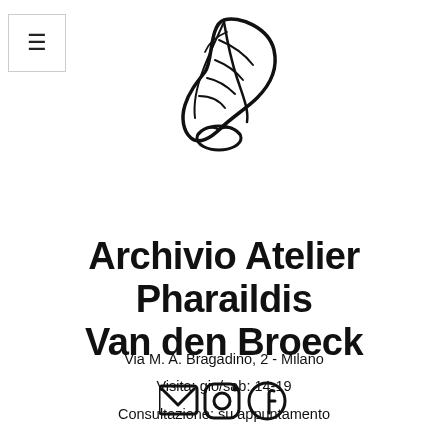[Figure (logo): Hand-drawn leaf/botanical logo mark in black ink]
Archivio Atelier Pharaildis Van den Broeck
Via M. A. Bragadino, 2 - Milano
Visita: gio/sab: 14-19
Consultazione: su appuntamento
[Figure (illustration): Social media icons: email envelope, Instagram, Facebook]